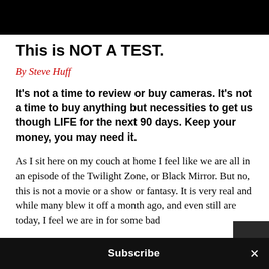[Figure (other): Black header bar at top of page]
This is NOT A TEST.
By Steve Huff
It’s not a time to review or buy cameras. It’s not a time to buy anything but necessities to get us though LIFE for the next 90 days. Keep your money, you may need it.
As I sit here on my couch at home I feel like we are all in an episode of the Twilight Zone, or Black Mirror. But no, this is not a movie or a show or fantasy. It is very real and while many blew it off a month ago, and even still are today, I feel we are in for some bad
Subscribe